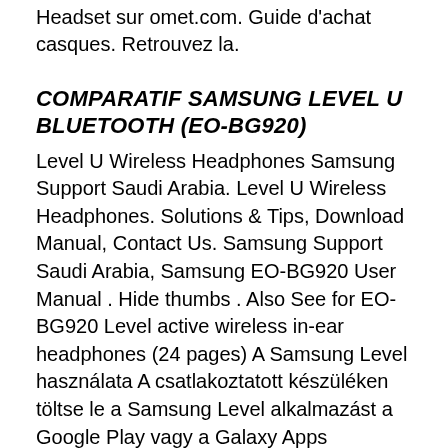Headset sur omet.com. Guide d'achat casques. Retrouvez la.
COMPARATIF SAMSUNG LEVEL U BLUETOOTH (EO-BG920)
Level U Wireless Headphones Samsung Support Saudi Arabia. Level U Wireless Headphones. Solutions & Tips, Download Manual, Contact Us. Samsung Support Saudi Arabia, Samsung EO-BG920 User Manual . Hide thumbs . Also See for EO-BG920 Level active wireless in-ear headphones (24 pages) A Samsung Level használata A csatlakoztatott készüléken töltse le a Samsung Level alkalmazást a Google Play vagy a Galaxy Apps áruházból. Az alkalmazással ellenőrizheti a fennmaradó akkumulátortöltöttséget, és beállíthatja a